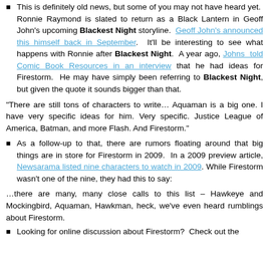This is definitely old news, but some of you may not have heard yet. Ronnie Raymond is slated to return as a Black Lantern in Geoff John's upcoming Blackest Night storyline. Geoff John's announced this himself back in September. It'll be interesting to see what happens with Ronnie after Blackest Night. A year ago, Johns told Comic Book Resources in an interview that he had ideas for Firestorm. He may have simply been referring to Blackest Night, but given the quote it sounds bigger than that.
“There are still tons of characters to write… Aquaman is a big one. I have very specific ideas for him. Very specific. Justice League of America, Batman, and more Flash. And Firestorm.”
As a follow-up to that, there are rumors floating around that big things are in store for Firestorm in 2009. In a 2009 preview article, Newsarama listed nine characters to watch in 2009. While Firestorm wasn’t one of the nine, they had this to say:
…there are many, many close calls to this list – Hawkeye and Mockingbird, Aquaman, Hawkman, heck, we’ve even heard rumblings about Firestorm.
Looking for online discussion about Firestorm? Check out the